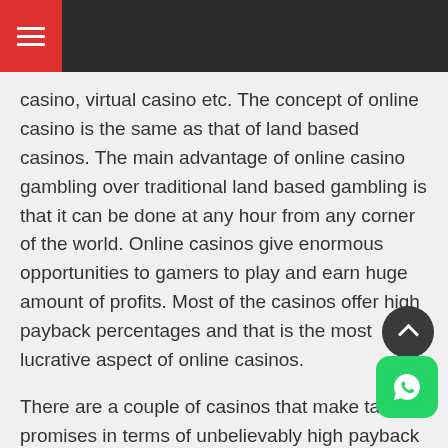≡
casino, virtual casino etc. The concept of online casino is the same as that of land based casinos. The main advantage of online casino gambling over traditional land based gambling is that it can be done at any hour from any corner of the world. Online casinos give enormous opportunities to gamers to play and earn huge amount of profits. Most of the casinos offer high payback percentages and that is the most lucrative aspect of online casinos.
There are a couple of casinos that make tall promises in terms of unbelievably high payback percentages in regard to slot machine games like poker. There are also a few casinos that use a well programmed random number generator. In such casinos, table games usually have a preset house edge. The payout